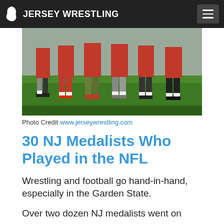JERSEY WRESTLING
[Figure (photo): Group of young men in red shirts and shorts standing on green grass field, lower bodies visible]
Photo Credit www.jerseywrestling.com
30 NJ Medalists Who Played in the NFL
Wrestling and football go hand-in-hand, especially in the Garden State.
Over two dozen NJ medalists went on